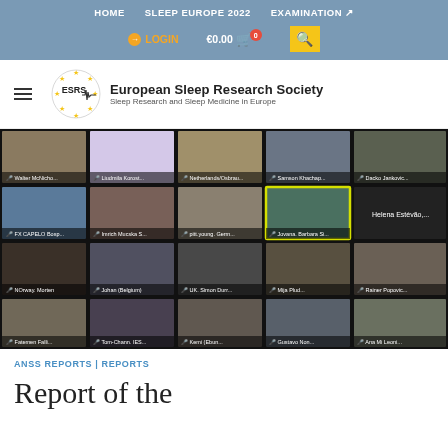HOME   SLEEP EUROPE 2022   EXAMINATION ↗
LOGIN   €0.00  0  🔍
[Figure (logo): European Sleep Research Society (ESRS) logo with circular star design and EEG waveform graphic. Text: 'European Sleep Research Society — Sleep Research and Sleep Medicine in Europe']
[Figure (screenshot): Video conference grid screenshot showing approximately 20 participants in a Zoom/Teams-style meeting. Visible name labels include: Walter McNicho..., Liudmila Korost..., Netherlands/Osbrau..., Samson Khachap..., Dacko Jankovic..., FX CAPELO Bosp..., Imrich Mucska S..., pitt.young. Germ..., Jovana. Barbara Si... (highlighted in yellow border), Helena Estévão..., NOrway. Morten, Johan (Belgium), UK. Simon Durr..., Mija Plud..., Rainer Popovic..., Fatemen Falli..., Tom-Chann. IES..., Kemi (Ebun..., Gustavo Non..., Ana Mi Leoni...]
ANSS REPORTS | REPORTS
Report of the